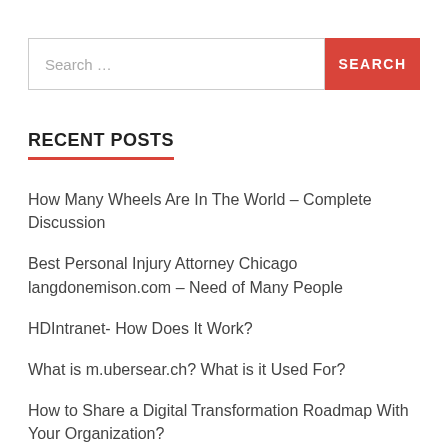Search …
RECENT POSTS
How Many Wheels Are In The World – Complete Discussion
Best Personal Injury Attorney Chicago langdonemison.com – Need of Many People
HDIntranet- How Does It Work?
What is m.ubersear.ch? What is it Used For?
How to Share a Digital Transformation Roadmap With Your Organization?